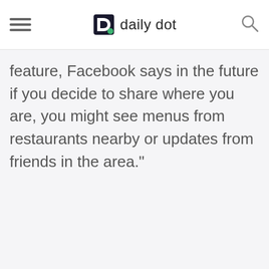daily dot
feature, Facebook says in the future  if you decide to share where you are, you might see menus from restaurants nearby or updates from friends in the area."